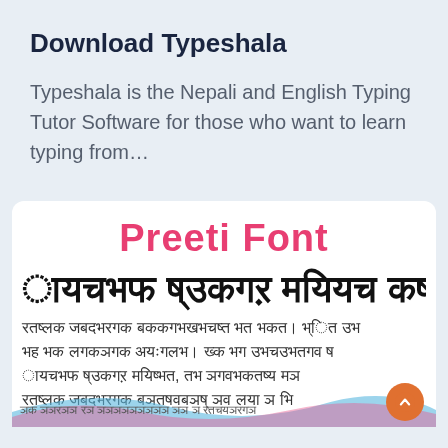Download Typeshala
Typeshala is the Nepali and English Typing Tutor Software for those who want to learn typing from…
[Figure (screenshot): A card/screenshot showing 'Preeti Font' in pink bold text followed by lines of Nepali/Devanagari script text in various sizes, with a decorative wave at the bottom and an orange scroll-to-top button.]